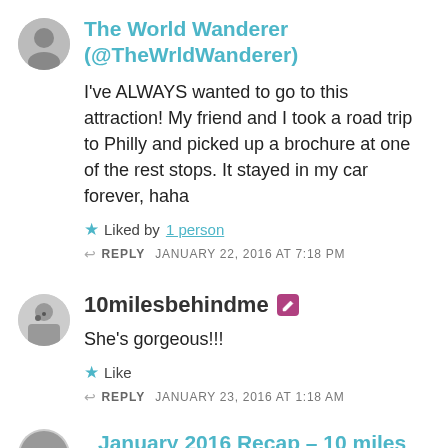The World Wanderer (@TheWrldWanderer)
I’ve ALWAYS wanted to go to this attraction! My friend and I took a road trip to Philly and picked up a brochure at one of the rest stops. It stayed in my car forever, haha
Liked by 1 person
REPLY  JANUARY 22, 2016 AT 7:18 PM
10milesbehindme
She’s gorgeous!!!
Like
REPLY  JANUARY 23, 2016 AT 1:18 AM
January 2016 Recap – 10 miles